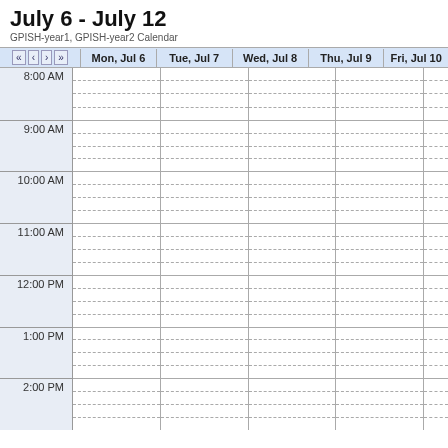July 6 - July 12
GPISH-year1, GPISH-year2 Calendar
|  | Mon, Jul 6 | Tue, Jul 7 | Wed, Jul 8 | Thu, Jul 9 | Fri, Jul 10 |
| --- | --- | --- | --- | --- | --- |
| 8:00 AM |  |  |  |  |  |
| 9:00 AM |  |  |  |  |  |
| 10:00 AM |  |  |  |  |  |
| 11:00 AM |  |  |  |  |  |
| 12:00 PM |  |  |  |  |  |
| 1:00 PM |  |  |  |  |  |
| 2:00 PM |  |  |  |  |  |